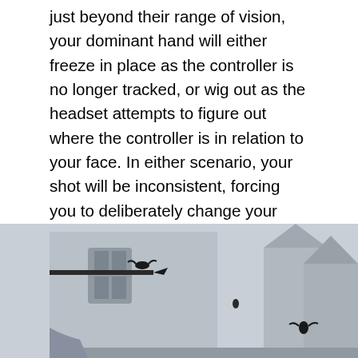just beyond their range of vision, your dominant hand will either freeze in place as the controller is no longer tracked, or wig out as the headset attempts to figure out where the controller is in relation to your face. In either scenario, your shot will be inconsistent, forcing you to deliberately change your shooting style—lest you endure the slings and arrows of a demon's maleficent vengeance, which you may miss while hammering away at a chamber full of enemy archers. Bow-shooting is one of the most difficult game genres to handle on the Quest. Despite this, In Death: Unchained manages to provide a well-rounded gaming experience, since it faithfully mimics the action on other headsets.
[Figure (photo): A low-angle photograph of gothic-style buildings or towers with pointed spires against a light grey sky. A dark bird or arrow-like object is visible near a horizontal bar on the left building. The architecture appears to be from a video game (In Death: Unchained), showing white/grey stone castle-like structures.]